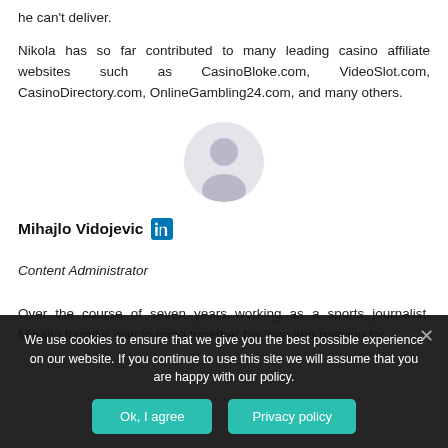he can't deliver.
Nikola has so far contributed to many leading casino affiliate websites such as CasinoBloke.com, VideoSlot.com, CasinoDirectory.com, OnlineGambling24.com, and many others.
[Figure (photo): Circular avatar/profile photo of Mihajlo Vidojevic, shown as a greyed-out silhouette on a light background]
Mihajlo Vidojevic [LinkedIn icon]
Content Administrator
Over the course of seven years working as a sports journalist, Mihailo found a way to bring together his love and passion for
We use cookies to ensure that we give you the best possible experience on our website. If you continue to use this site we will assume that you are happy with our policy.